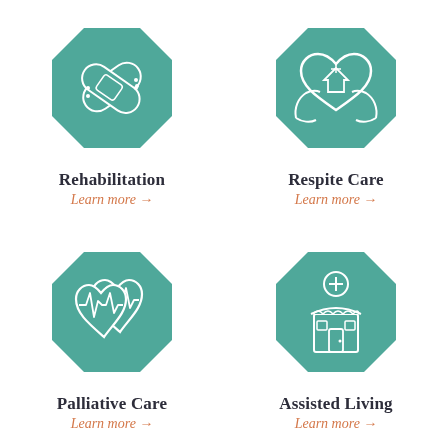[Figure (illustration): Teal octagon icon with crossed bandaids symbol]
Rehabilitation
Learn more →
[Figure (illustration): Teal octagon icon with hands holding heart with house and cross symbol]
Respite Care
Learn more →
[Figure (illustration): Teal octagon icon with two hearts with heartbeat lines]
Palliative Care
Learn more →
[Figure (illustration): Teal octagon icon with a medical store building and plus sign]
Assisted Living
Learn more →